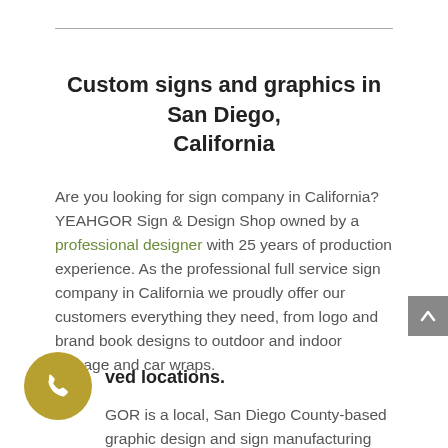Custom signs and graphics in San Diego, California
Are you looking for sign company in California? YEAHGOR Sign & Design Shop owned by a professional designer with 25 years of production experience. As the professional full service sign company in California we proudly offer our customers everything they need, from logo and brand book designs to outdoor and indoor signage and car wraps.
ved locations.
GOR is a local, San Diego County-based graphic design and sign manufacturing company. It allows us